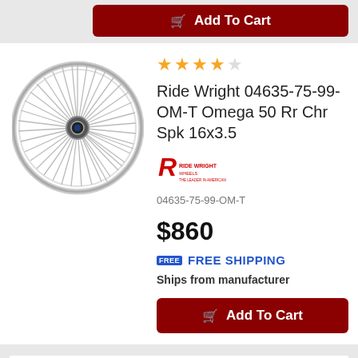[Figure (other): Add To Cart button (dark red, top of page)]
[Figure (photo): Chrome spoke motorcycle wheel (Ride Wright Omega 50 Rr Chr Spk 16x3.5)]
[Figure (other): 4.5 star rating (4 filled, 1 empty gold stars)]
Ride Wright 04635-75-99-OM-T Omega 50 Rr Chr Spk 16x3.5
[Figure (logo): Ride Wright Wheels brand logo in red]
04635-75-99-OM-T
$860
FREE SHIPPING
Ships from manufacturer
[Figure (other): Add To Cart button (dark red, bottom of product card)]
[Figure (other): 4.5 star rating at bottom of page]